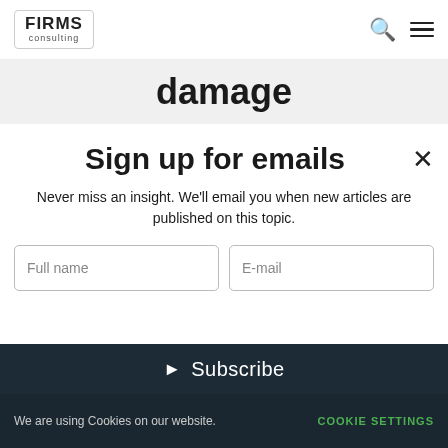FIRMS consulting
damage
Sign up for emails
Never miss an insight. We'll email you when new articles are published on this topic.
Full name
E-mail
Subscribe
We are using Cookies on our website. COOKIE SETTINGS